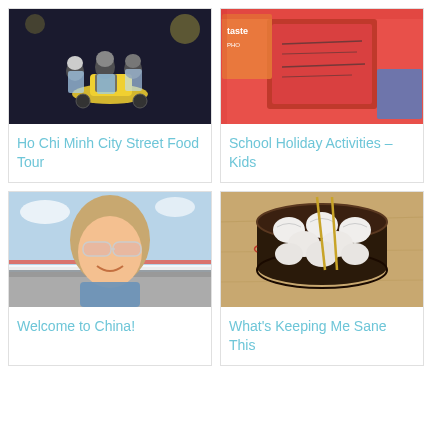[Figure (photo): Group of people on motorbikes/scooters at night, wearing helmets and rain ponchos]
Ho Chi Minh City Street Food Tour
[Figure (photo): Red menu/notebook and food magazines on a checkered tablecloth]
School Holiday Activities – Kids
[Figure (photo): Woman with sunglasses smiling outdoors near a highway or raceway]
Welcome to China!
[Figure (photo): Dim sum dumplings in a dark bamboo steamer basket with chopsticks on a wooden surface]
What's Keeping Me Sane This